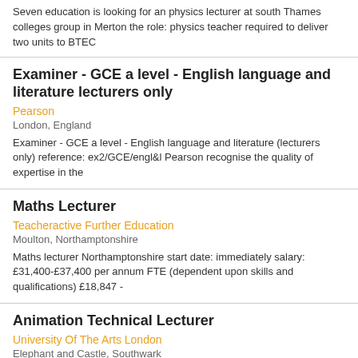Seven education is looking for an physics lecturer at south Thames colleges group in Merton the role: physics teacher required to deliver two units to BTEC
Examiner - GCE a level - English language and literature lecturers only
Pearson
London, England
Examiner - GCE a level - English language and literature (lecturers only) reference: ex2/GCE/engl&l Pearson recognise the quality of expertise in the
Maths Lecturer
Teacheractive Further Education
Moulton, Northamptonshire
Maths lecturer Northamptonshire start date: immediately salary: £31,400-£37,400 per annum FTE (dependent upon skills and qualifications) £18,847 -
Animation Technical Lecturer
University Of The Arts London
Elephant and Castle, Southwark
The BA and MA animation courses at UAL s London college of communication are looking to recruit a specialist technical lecturer in animation, with a strong
Motor Vehicle Lecturer